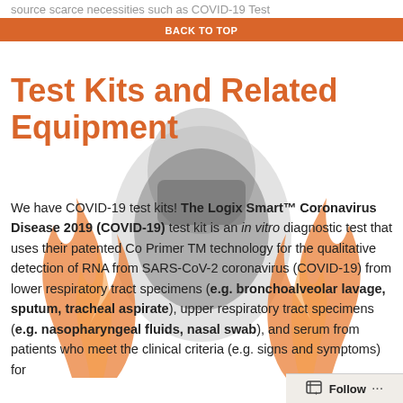source scarce necessities such as COVID-19 Test Kits and PPE.
BACK TO TOP
Test Kits and Related Equipment
We have COVID-19 test kits! The Logix Smart™ Coronavirus Disease 2019 (COVID-19) test kit is an in vitro diagnostic test that uses their patented Co Primer TM technology for the qualitative detection of RNA from SARS-CoV-2 coronavirus (COVID-19) from lower respiratory tract specimens (e.g. bronchoalveolar lavage, sputum, tracheal aspirate), upper respiratory tract specimens (e.g. nasopharyngeal fluids, nasal swab), and serum from patients who meet the clinical criteria (e.g. signs and symptoms) for
Follow